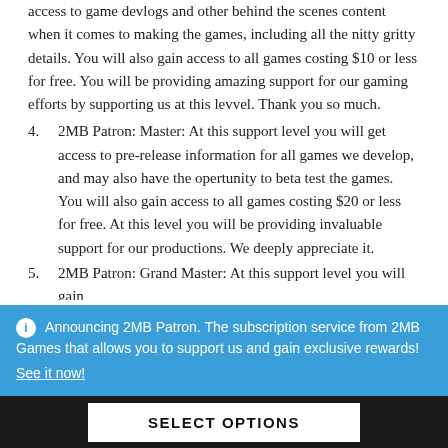access to game devlogs and other behind the scenes content when it comes to making the games, including all the nitty gritty details. You will also gain access to all games costing $10 or less for free. You will be providing amazing support for our gaming efforts by supporting us at this levvel. Thank you so much.
4. 2MB Patron: Master: At this support level you will get access to pre-release information for all games we develop, and may also have the opertunity to beta test the games. You will also gain access to all games costing $20 or less for free. At this level you will be providing invaluable support for our productions. We deeply appreciate it.
5. 2MB Patron: Grand Master: At this support level you will gain
Announcing 2MB Patron. The subscription service from 2MB Games that allows you to support us and gain exclusive rewards! See it now!
SELECT OPTIONS